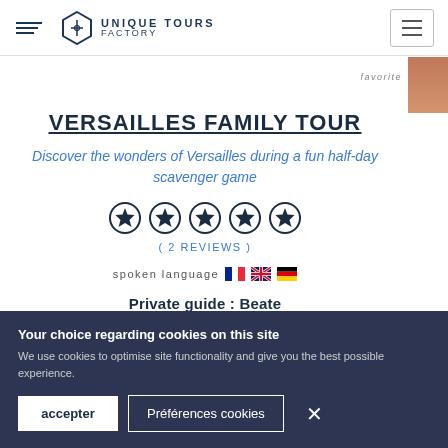UNIQUE TOURS FACTORY
favorite
VERSAILLES FAMILY TOUR
Discover the wonders of Versailles during a fun half-day scavenger game
[Figure (other): Five star rating circles]
(2 REVIEWS)
spoken language [French flag] [UK flag] [German flag]
Private guide : Beate
Your choice regarding cookies on this site
We use cookies to optimise site functionality and give you the best possible experience.
accepter | Préférences cookies | ×